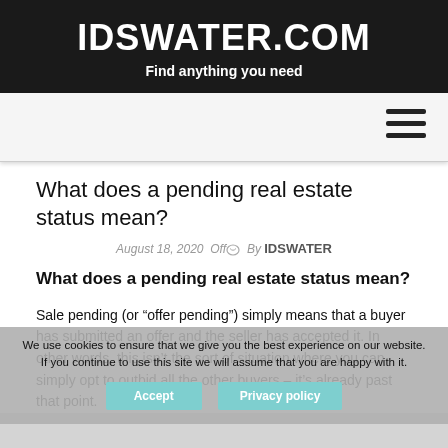IDSWATER.COM
Find anything you need
[Figure (other): Hamburger menu icon (three horizontal lines)]
What does a pending real estate status mean?
August 18, 2020   Off   By IDSWATER
What does a pending real estate status mean?
Sale pending (or “offer pending”) simply means that a buyer has submitted an offer and the seller has accepted it. In other words, this isn’t the sort of situation where you can simply opt to outbid all the other buyers – it’s already past that point.
We use cookies to ensure that we give you the best experience on our website. If you continue to use this site we will assume that you are happy with it.